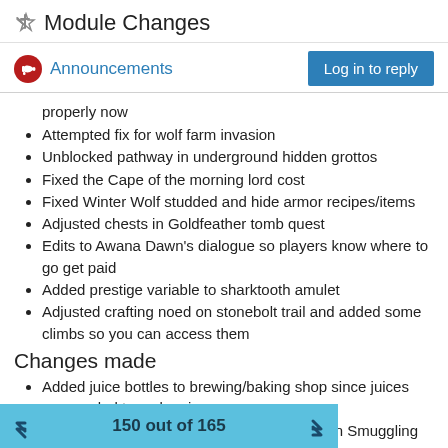Module Changes
Announcements
properly now
Attempted fix for wolf farm invasion
Unblocked pathway in underground hidden grottos
Fixed the Cape of the morning lord cost
Fixed Winter Wolf studded and hide armor recipes/items
Adjusted chests in Goldfeather tomb quest
Edits to Awana Dawn's dialogue so players know where to go get paid
Added prestige variable to sharktooth amulet
Adjusted crafting noed on stonebolt trail and added some climbs so you can access them
Changes made
Added juice bottles to brewing/baking shop since juices are needed to make pies
Adjusted spawn location of some monsters in Smuggling
150 out of 165